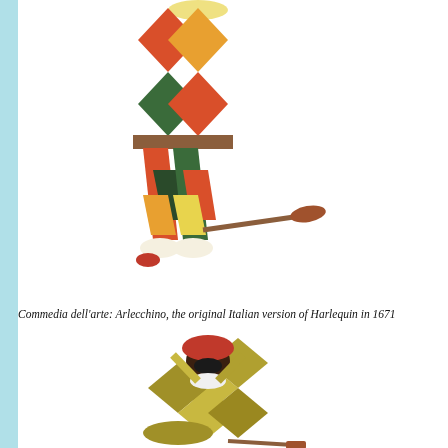[Figure (illustration): Commedia dell'arte illustration of Arlecchino (Harlequin) in a colorful diamond-patterned costume of red, orange, green, and dark colors. The figure is shown from roughly the chest down, wearing pantaloons with diamond patterns and ornate shoes, in a dynamic pose. A bat or slapstick prop is visible.]
Commedia dell'arte: Arlecchino, the original Italian version of Harlequin in 1671
[Figure (illustration): Commedia dell'arte illustration of Arlecchino seated or crouching on the ground, wearing a yellow-green diamond-patterned costume with a red hat and black mask. The figure's arms are raised behind the head in a relaxed or resting pose. A stick or slapstick is visible near the figure.]